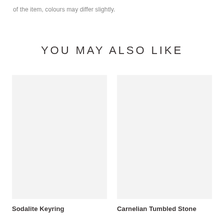of the item, colours may differ slightly.
YOU MAY ALSO LIKE
[Figure (photo): Product image placeholder for Sodalite Keyring — light grey rectangle]
Sodalite Keyring
[Figure (photo): Product image placeholder for Carnelian Tumbled Stone — light grey rectangle]
Carnelian Tumbled Stone